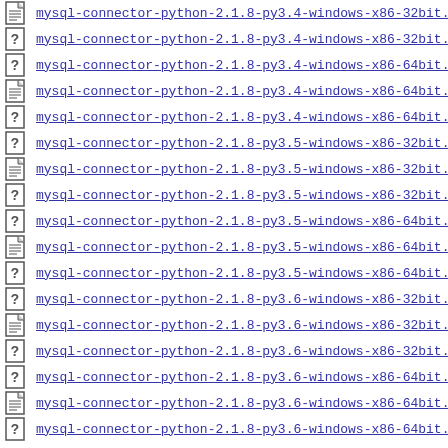mysql-connector-python-2.1.8-py3.4-windows-x86-32bit.
mysql-connector-python-2.1.8-py3.4-windows-x86-32bit.
mysql-connector-python-2.1.8-py3.4-windows-x86-64bit.
mysql-connector-python-2.1.8-py3.4-windows-x86-64bit.
mysql-connector-python-2.1.8-py3.4-windows-x86-64bit.
mysql-connector-python-2.1.8-py3.5-windows-x86-32bit.
mysql-connector-python-2.1.8-py3.5-windows-x86-32bit.
mysql-connector-python-2.1.8-py3.5-windows-x86-32bit.
mysql-connector-python-2.1.8-py3.5-windows-x86-64bit.
mysql-connector-python-2.1.8-py3.5-windows-x86-64bit.
mysql-connector-python-2.1.8-py3.5-windows-x86-64bit.
mysql-connector-python-2.1.8-py3.6-windows-x86-32bit.
mysql-connector-python-2.1.8-py3.6-windows-x86-32bit.
mysql-connector-python-2.1.8-py3.6-windows-x86-32bit.
mysql-connector-python-2.1.8-py3.6-windows-x86-64bit.
mysql-connector-python-2.1.8-py3.6-windows-x86-64bit.
mysql-connector-python-2.1.8-py3.6-windows-x86-64bit.